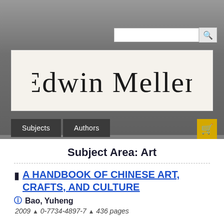[Figure (logo): Edwin Mellen Press cursive signature logo on cream background]
Subjects  Authors
Subject Area: Art
A HANDBOOK OF CHINESE ART, CRAFTS, AND CULTURE
Bao, Yuheng
2009  0-7734-4897-7  436 pages